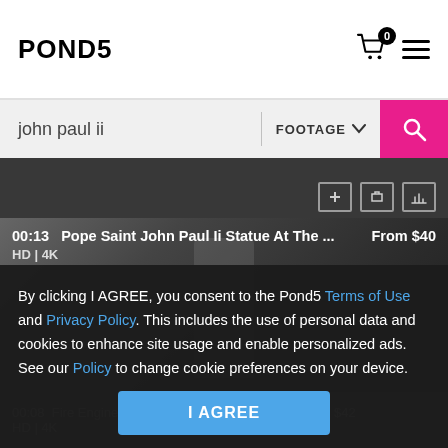POND5
john paul ii
FOOTAGE
00:13  Pope Saint John Paul Ii Statue At The ...  From $40  HD | 4K
By clicking I AGREE, you consent to the Pond5 Terms of Use and Privacy Policy. This includes the use of personal data and cookies to enhance site usage and enable personalized ads. See our Policy to change cookie preferences on your device.
I AGREE
00:08  Fire Engine Truck At The John Paul Ii K...  From $42  HD | 4K